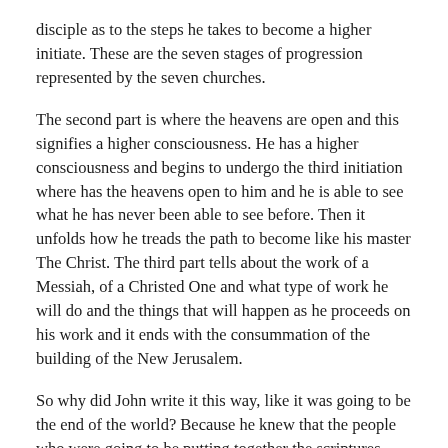disciple as to the steps he takes to become a higher initiate. These are the seven stages of progression represented by the seven churches.
The second part is where the heavens are open and this signifies a higher consciousness. He has a higher consciousness and begins to undergo the third initiation where has the heavens open to him and he is able to see what he has never been able to see before. Then it unfolds how he treads the path to become like his master The Christ. The third part tells about the work of a Messiah, of a Christed One and what type of work he will do and the things that will happen as he proceeds on his work and it ends with the consummation of the building of the New Jerusalem.
So why did John write it this way, like it was going to be the end of the world? Because he knew that the people who were going to be putting together the scriptures loved the end of the world stuff. Do people still love the end of the world stuff?